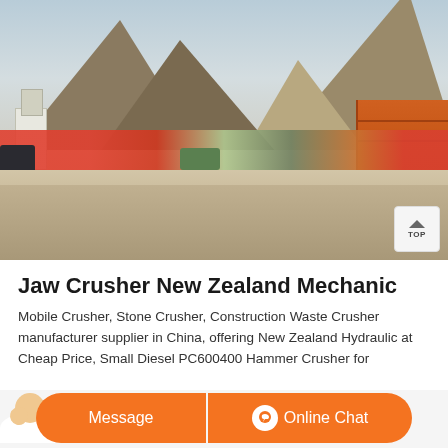[Figure (photo): Outdoor industrial/mining site with heavy machinery, trucks, and orange shipping containers, set against a mountainous rocky landscape under clear sky. Gravel-covered ground in foreground.]
Jaw Crusher New Zealand Mechanic
Mobile Crusher, Stone Crusher, Construction Waste Crusher manufacturer supplier in China, offering New Zealand Hydraulic [at Cheap Price, Small Diesel PC600400 Hammer Crusher for...